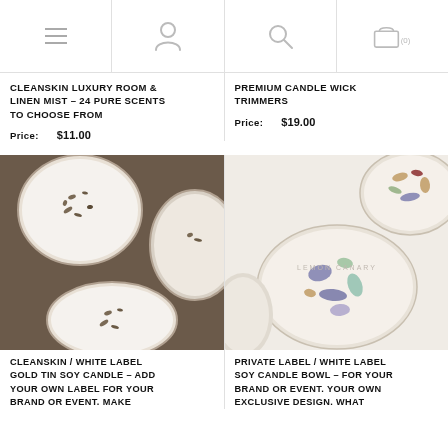Navigation bar with menu, account, search, and basket icons
CLEANSKIN LUXURY ROOM & LINEN MIST – 24 PURE SCENTS TO CHOOSE FROM
Price: $11.00
PREMIUM CANDLE WICK TRIMMERS
Price: $19.00
[Figure (photo): Overhead view of multiple white soy candles in gold tins with dried flower/herb toppings arranged on a dark metal tray]
[Figure (photo): Overhead view of crystal-topped soy candle bowls on white surface, with Lemon Canary stamp/logo visible]
CLEANSKIN / WHITE LABEL GOLD TIN SOY CANDLE – ADD YOUR OWN LABEL FOR YOUR BRAND OR EVENT. MAKE
PRIVATE LABEL / WHITE LABEL SOY CANDLE BOWL – FOR YOUR BRAND OR EVENT. YOUR OWN EXCLUSIVE DESIGN. WHAT